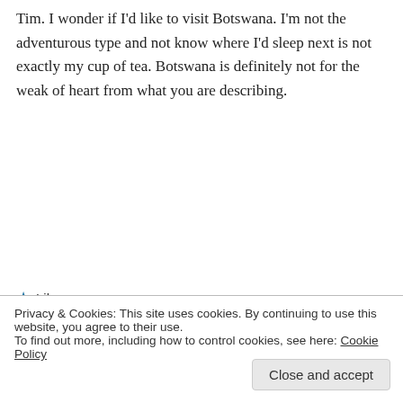Tim. I wonder if I'd like to visit Botswana. I'm not the adventurous type and not know where I'd sleep next is not exactly my cup of tea. Botswana is definitely not for the weak of heart from what you are describing.
★ Like
↳ Reply
Tim on October 1, 2015 at 4:50 pm
Privacy & Cookies: This site uses cookies. By continuing to use this website, you agree to their use.
To find out more, including how to control cookies, see here: Cookie Policy
Close and accept